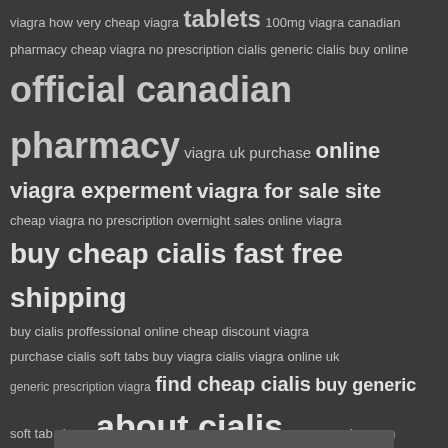viagra how very cheap viagra tablets 100mg viagra canadian pharmacy cheap viagra no prescription cialis generic cialis buy online official canadian pharmacy viagra uk purchase online viagra experment viagra for sale site cheap viagra no prescription overnight sales online viagra buy cheap cialis fast free shipping buy cialis proffessional online cheap discount viagra purchase cialis soft tabs buy viagra cialis viagra online uk generic prescription viagra find cheap cialis buy generic soft tab viagra about cialis www.sycarion.com cialis and canada custom buy viagra nyc Cialis generic recommended get cialis cheap